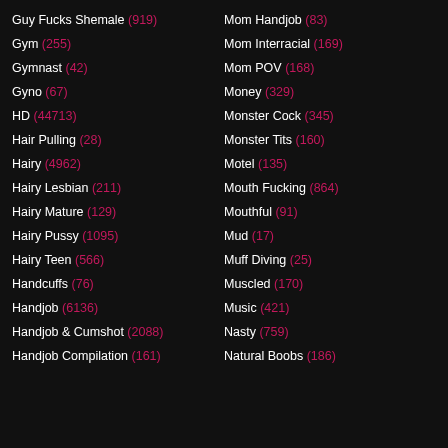Guy Fucks Shemale (919)
Mom Handjob (83)
Gym (255)
Mom Interracial (169)
Gymnast (42)
Mom POV (168)
Gyno (67)
Money (329)
HD (44713)
Monster Cock (345)
Hair Pulling (28)
Monster Tits (160)
Hairy (4962)
Motel (135)
Hairy Lesbian (211)
Mouth Fucking (864)
Hairy Mature (129)
Mouthful (91)
Hairy Pussy (1095)
Mud (17)
Hairy Teen (566)
Muff Diving (25)
Handcuffs (76)
Muscled (170)
Handjob (6136)
Music (421)
Handjob & Cumshot (2088)
Nasty (759)
Handjob Compilation (161)
Natural Boobs (186)